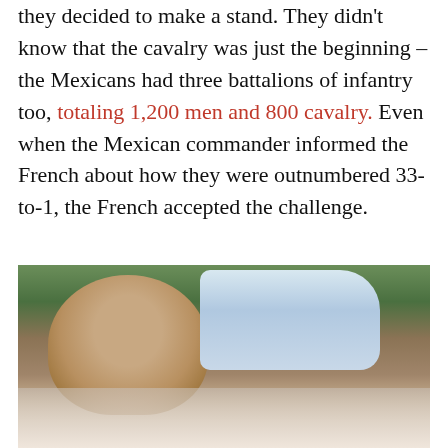they decided to make a stand. They didn't know that the cavalry was just the beginning – the Mexicans had three battalions of infantry too, totaling 1,200 men and 800 cavalry. Even when the Mexican commander informed the French about how they were outnumbered 33-to-1, the French accepted the challenge.
[Figure (photo): Close-up photograph of a person's head from behind/side, wearing or near a white military-style cap, with a reflection visible below]